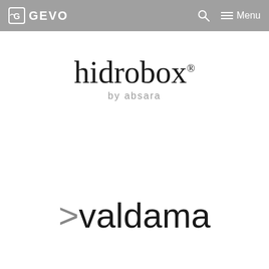GEVO — Navigation bar with search and menu
[Figure (logo): hidrobox by absara logo — stylized lowercase text 'hidrobox' with superscript mark, subtitle 'by absara' in grey]
[Figure (logo): >valdama logo — grey arrow/chevron followed by 'valdama' in dark sans-serif text]